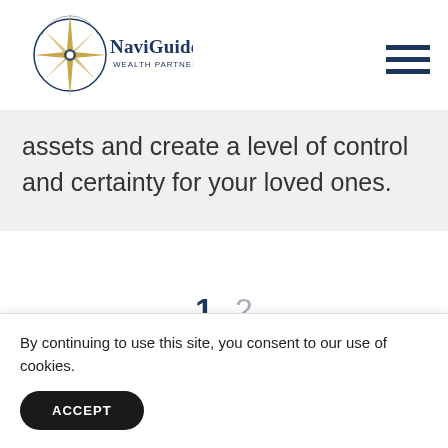[Figure (logo): NaviGuide Wealth Partners, Inc. logo with compass rose graphic and navy/gold coloring]
assets and create a level of control and certainty for your loved ones.
1  2
By continuing to use this site, you consent to our use of cookies.
ACCEPT